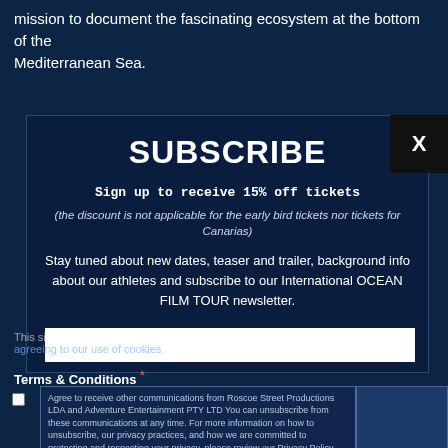mission to document the fascinating ecosystem at the bottom of the Mediterranean Sea.
SUBSCRIBE
Sign up to receive 15% off tickets
(the discount is not applicable for the early bird tickets nor tickets for Canarias)
Stay tuned about new dates, teaser and trailer, background info about our athletes and subscribe to our International OCEAN FILM TOUR newsletter.
This site uses cookies. By continuing to browse the site, you are agreeing to our use of cookies.
Terms & Conditions *
Agree to receive other communications from Roscoe Street Productions LDA and Adventure Entertainment PTY LTD You can unsubscribe from these communications at any time. For more information on how to unsubscribe, our privacy practices, and how we are committed to protecting and respecting your privacy, please review our Privacy Policy